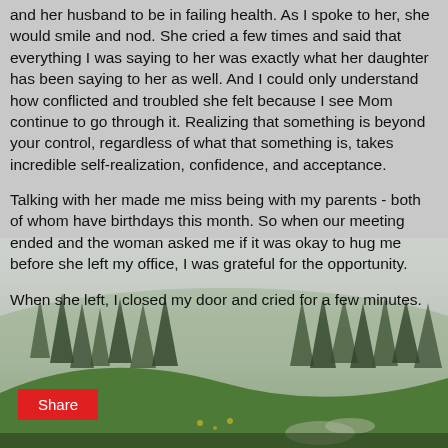and her husband to be in failing health. As I spoke to her, she would smile and nod. She cried a few times and said that everything I was saying to her was exactly what her daughter has been saying to her as well. And I could only understand how conflicted and troubled she felt because I see Mom continue to go through it. Realizing that something is beyond your control, regardless of what that something is, takes incredible self-realization, confidence, and acceptance.
Talking with her made me miss being with my parents - both of whom have birthdays this month. So when our meeting ended and the woman asked me if it was okay to hug me before she left my office, I was grateful for the opportunity.
When she left, I closed my door and cried for a few minutes.
[Figure (photo): Misty mountain landscape with evergreen trees and green hillside in fog]
Share